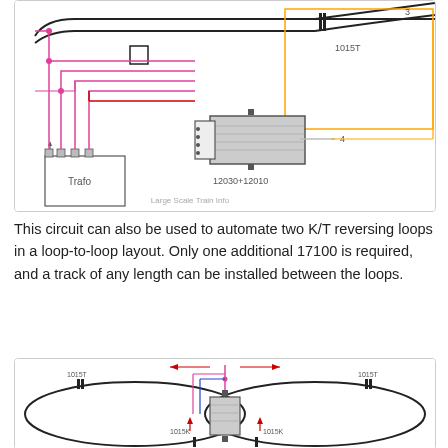[Figure (schematic): Electrical wiring diagram showing a Trafo (transformer) connected to components 12030+12010 and 1015T, with pink/magenta wiring lines and an orange rectangle indicating connections. Labels show terminals 1-4 on the Trafo and component labels. Watermark reads 'Large Scale Train Info'.]
This circuit can also be used to automate two K/T reversing loops in a loop-to-loop layout. Only one additional 17100 is required, and a track of any length can be installed between the loops.
[Figure (schematic): Wiring diagram showing a loop-to-loop track layout with two oval loops. Labels show 1015T at top-left and top-right, 1015K at lower-left and lower-right, with a central component (12030+12010 style module) connected by pink/red and blue wires. Red arrows indicate current direction at the top center.]